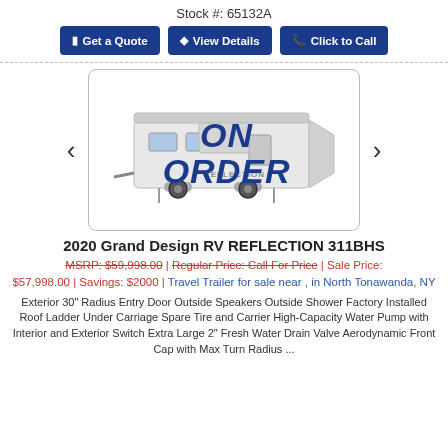Stock #: 65132A
Get a Quote | View Details | Click to Call
[Figure (photo): RV trailer photo with 'ON ORDER' text overlay, shown in a rounded rectangular border with left and right navigation arrows]
2020 Grand Design RV REFLECTION 311BHS
MSRP: $59,998.00 | Regular Price: Call For Price | Sale Price: $57,998.00 | Savings: $2000 | Travel Trailer for sale near , in North Tonawanda, NY
Exterior 30" Radius Entry Door Outside Speakers Outside Shower Factory Installed Roof Ladder Under Carriage Spare Tire and Carrier High-Capacity Water Pump with Interior and Exterior Switch Extra Large 2" Fresh Water Drain Valve Aerodynamic Front Cap with Max Turn Radius ... Stock #: 26702